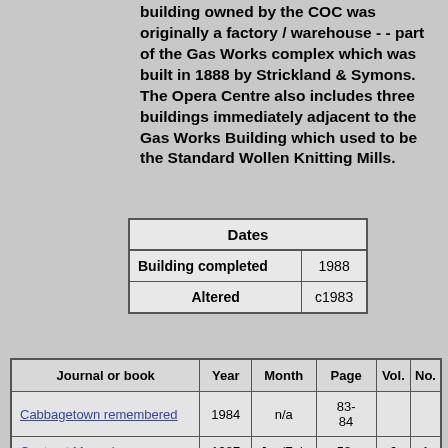building owned by the COC was originally a factory / warehouse -- part of the Gas Works complex which was built in 1888 by Strickland & Symons. The Opera Centre also includes three buildings immediately adjacent to the Gas Works Building which used to be the Standard Wollen Knitting Mills.
| Dates |  |
| --- | --- |
| Building completed | 1988 |
| Altered | c1983 |
| Journal or book | Year | Month | Page | Vol. | No. |
| --- | --- | --- | --- | --- | --- |
| Cabbagetown remembered | 1984 | n/a | 83-84 |  |  |
| Contract Magazine | 1987 | Jan/Feb | 58- | 6 | 1 |